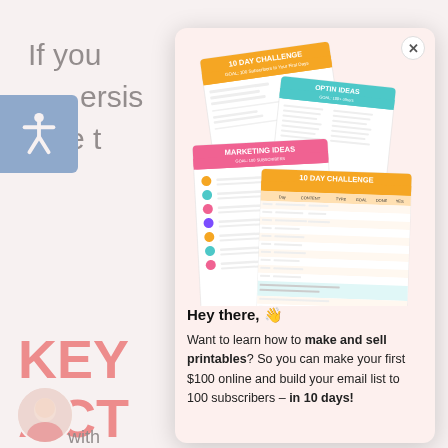If you
ersis
able t
KEY
ACT
The s
imple
you d
[Figure (illustration): Modal popup with printable worksheets image showing '10 DAY CHALLENGE', 'OPTIN IDEAS', 'MARKETING IDEAS' cards fanned out. Below is marketing text.]
Hey there, 👋
Want to learn how to make and sell printables? So you can make your first $100 online and build your email list to 100 subscribers – in 10 days!